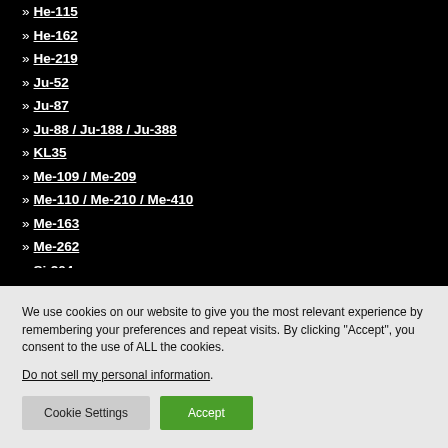» He-115
» He-162
» He-219
» Ju-52
» Ju-87
» Ju-88 / Ju-188 / Ju-388
» KL35
» Me-109 / Me-209
» Me-110 / Me-210 / Me-410
» Me-163
» Me-262
» Si-204
We use cookies on our website to give you the most relevant experience by remembering your preferences and repeat visits. By clicking "Accept", you consent to the use of ALL the cookies.
Do not sell my personal information.
Cookie Settings | Accept